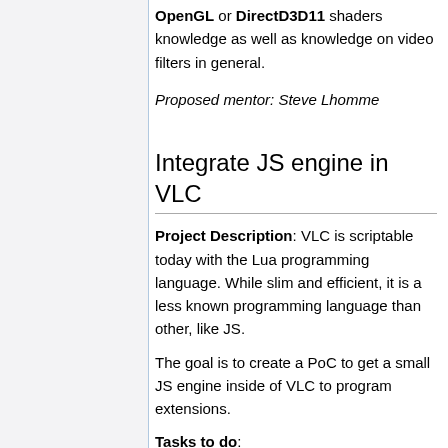OpenGL or DirectD3D11 shaders knowledge as well as knowledge on video filters in general.
Proposed mentor: Steve Lhomme
Integrate JS engine in VLC
Project Description: VLC is scriptable today with the Lua programming language. While slim and efficient, it is a less known programming language than other, like JS.
The goal is to create a PoC to get a small JS engine inside of VLC to program extensions.
Tasks to do:
Find the correct JS engine for VLC use-case
Embed the engine in VLC